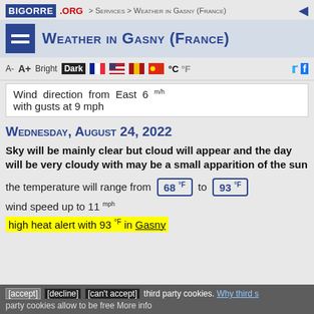BIGORRE.ORG > Services > Weather in Gasny (France)
Weather in Gasny (France)
A- A+ Bright Dark °C °F
Wind direction from East 6 mph with gusts at 9 mph
Wednesday, August 24, 2022
Sky will be mainly clear but cloud will appear and the day will be very cloudy with may be a small apparition of the sun
the temperature will range from 68 °F to 93 °F
wind speed up to 11 mph
high heat alert with 93 °F in Gasny
[accept] [decline] [can't accept] third party cookies. Why third party cookies allow to be free More info